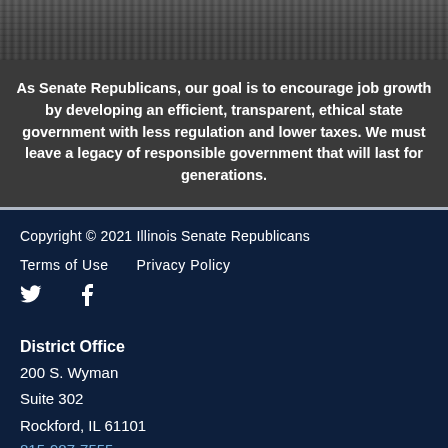[Figure (photo): Gray textured banner photo at top of page]
As Senate Republicans, our goal is to encourage job growth by developing an efficient, transparent, ethical state government with less regulation and lower taxes. We must leave a legacy of responsible government that will last for generations.
Copyright © 2021 Illinois Senate Republicans
Terms of Use
Privacy Policy
[Figure (illustration): Twitter bird icon]
[Figure (illustration): Facebook icon]
District Office
200 S. Wyman
Suite 302
Rockford, IL 61101
815-987-7555
District Offi...